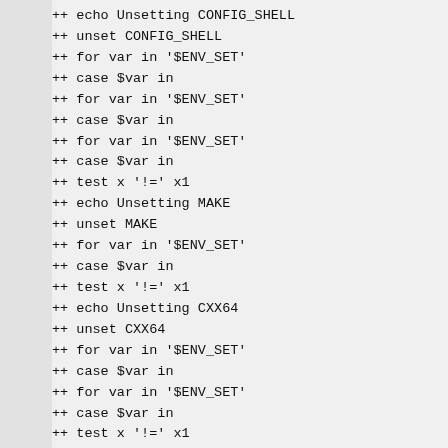++ echo Unsetting CONFIG_SHELL
++ unset CONFIG_SHELL
++ for var in '$ENV_SET'
++ case $var in
++ for var in '$ENV_SET'
++ case $var in
++ for var in '$ENV_SET'
++ case $var in
++ test x '!=' x1
++ echo Unsetting MAKE
++ unset MAKE
++ for var in '$ENV_SET'
++ case $var in
++ test x '!=' x1
++ echo Unsetting CXX64
++ unset CXX64
++ for var in '$ENV_SET'
++ case $var in
++ for var in '$ENV_SET'
++ case $var in
++ test x '!=' x1
++ echo Unsetting MAKESHELL
++ unset MAKESHELL
++ for var in '$ENV_SET'
++ case $var in